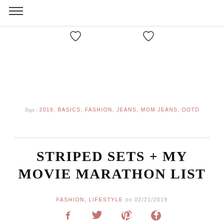≡
[Figure (illustration): Two outline heart icons side by side]
Tags : 2019, BASICS, FASHION, JEANS, MOM JEANS, OOTD
STRIPED SETS + MY MOVIE MARATHON LIST
FASHION, LIFESTYLE on 02/21/2019
[Figure (illustration): Social sharing icons: Facebook, Twitter, Pinterest, Google+]